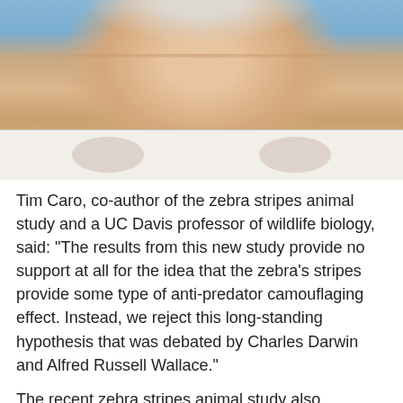[Figure (photo): Close-up photo of Tim Caro, an older man with white/grey stubble and short grey hair, wearing a white patterned shirt, with a blue background.]
Tim Caro, co-author of the zebra stripes animal study and a UC Davis professor of wildlife biology, said: “The results from this new study provide no support at all for the idea that the zebra’s stripes provide some type of anti-predator camouflaging effect. Instead, we reject this long-standing hypothesis that was debated by Charles Darwin and Alfred Russell Wallace.”
The recent zebra stripes animal study also suggests it does not provide any social advantage by allowing other others to recognize each other at a distance. While zebras can see stripes over further distances than their predators can, scientists noted other species, closely related to the zebra, are highly social and able to recognize each other easily despite having no striping.